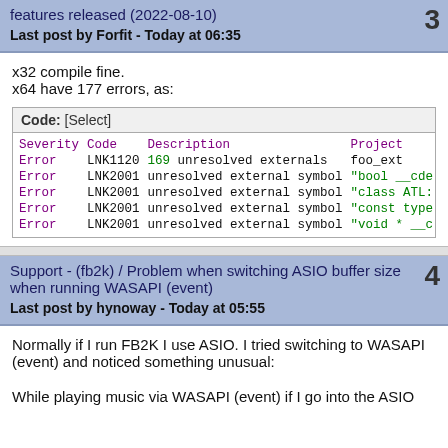features released (2022-08-10)
Last post by Forfit - Today at 06:35
x32 compile fine.
x64 have 177 errors, as:
| Severity | Code | Description | Project | File | Line |
| --- | --- | --- | --- | --- | --- |
| Error | LNK1120 | 169 unresolved externals | foo_ext |  |  |
| Error | LNK2001 | unresolved external symbol | "bool __cde |  |  |
| Error | LNK2001 | unresolved external symbol | "class ATL: |  |  |
| Error | LNK2001 | unresolved external symbol | "const type |  |  |
| Error | LNK2001 | unresolved external symbol | "void * __c |  |  |
Support - (fb2k) / Problem when switching ASIO buffer size when running WASAPI (event)
Last post by hynoway - Today at 05:55
Normally if I run FB2K I use ASIO.  I tried switching to WASAPI (event) and noticed something unusual:
While playing music via WASAPI (event) if I go into the ASIO